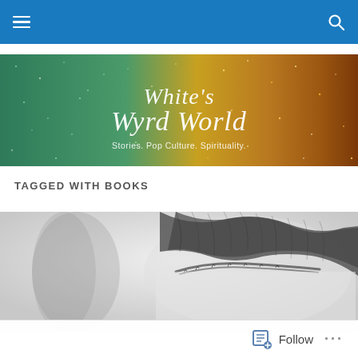Navigation bar with hamburger menu and search icon
[Figure (illustration): White's Wyrd World blog banner with glittery teal-to-gold bokeh background. Cursive text reads "White's Wyrd World" with subtitle "Stories. Pop Culture. Spirituality."]
TAGGED WITH BOOKS
[Figure (photo): Black and white close-up photo of the top of a person's head showing hair/eyebrows, cropped tightly]
Follow ...